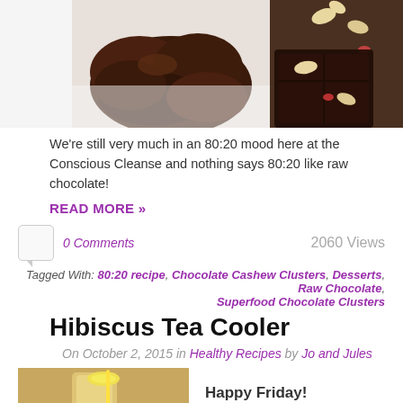[Figure (photo): Photo of chocolate cashew clusters on white background and a piece of dark chocolate with cashews and goji berries]
We're still very much in an 80:20 mood here at the Conscious Cleanse and nothing says 80:20 like raw chocolate!
READ MORE »
0 Comments   2060 Views
Tagged With: 80:20 recipe, Chocolate Cashew Clusters, Desserts, Raw Chocolate, Superfood Chocolate Clusters
Hibiscus Tea Cooler
On October 2, 2015 in Healthy Recipes by Jo and Jules
[Figure (photo): Photo of hibiscus tea cooler drink]
Happy Friday!